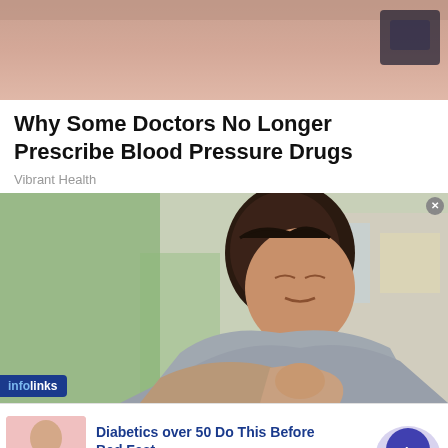[Figure (photo): Partial top image, skin/background tones, cropped]
Why Some Doctors No Longer Prescribe Blood Pressure Drugs
Vibrant Health
[Figure (photo): Woman scratching her arm, appearing to be in discomfort, seated indoors]
[Figure (photo): Ad thumbnail: person in pink shirt]
Diabetics over 50 Do This Before Bed,Fast
n/a